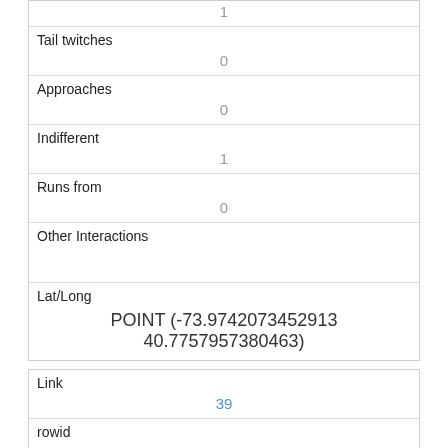| 1 |
| Tail twitches | 0 |
| Approaches | 0 |
| Indifferent | 1 |
| Runs from | 0 |
| Other Interactions |  |
| Lat/Long | POINT (-73.9742073452913 40.7757957380463) |
| Link | 39 |
| rowid | 39 |
| longitude | -73.9716147061553 |
| latitude |  |